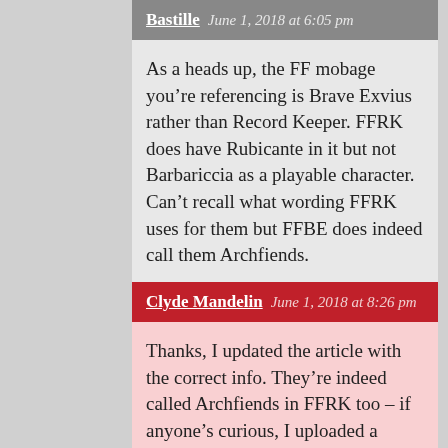Bastille   June 1, 2018 at 6:05 pm
As a heads up, the FF mobage you’re referencing is Brave Exvius rather than Record Keeper. FFRK does have Rubicante in it but not Barbariccia as a playable character. Can’t recall what wording FFRK uses for them but FFBE does indeed call them Archfiends.
REPLY ↓
Clyde Mandelin   June 1, 2018 at 8:26 pm
Thanks, I updated the article with the correct info. They’re indeed called Archfiends in FFRK too – if anyone’s curious, I uploaded a screenshot here. I’d add it to the main article but it wouldn’t add anything of interest except make it even longer 🙂